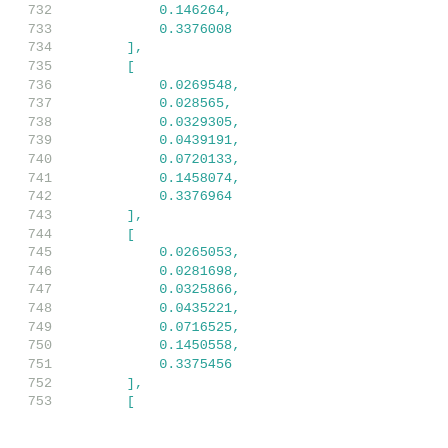732    0.146264,
733    0.3376008
734    ],
735    [
736    0.0269548,
737    0.028565,
738    0.0329305,
739    0.0439191,
740    0.0720133,
741    0.1458074,
742    0.3376964
743    ],
744    [
745    0.0265053,
746    0.0281698,
747    0.0325866,
748    0.0435221,
749    0.0716525,
750    0.1450558,
751    0.3375456
752    ],
753    [